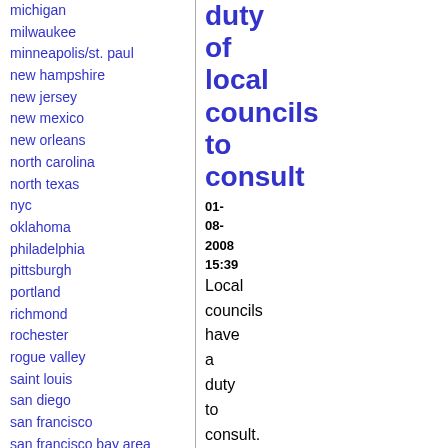michigan
milwaukee
minneapolis/st. paul
new hampshire
new jersey
new mexico
new orleans
north carolina
north texas
nyc
oklahoma
philadelphia
pittsburgh
portland
richmond
rochester
rogue valley
saint louis
san diego
san francisco
san francisco bay area
santa barbara
santa cruz, ca
sarasota
seattle
tampa bay
duty of local councils to consult
01-08-2008 15:39
Local councils have a duty to consult. This is not a nicety, or a nod to local